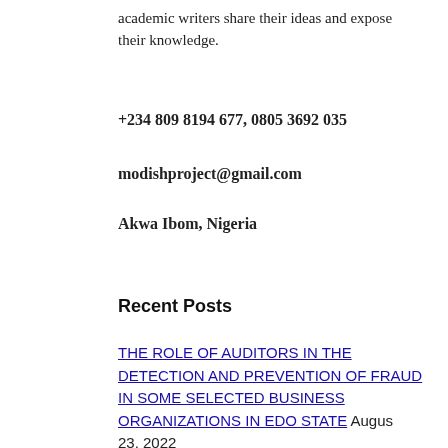academic writers share their ideas and expose their knowledge.
+234 809 8194 677, 0805 3692 035
modishproject@gmail.com
Akwa Ibom, Nigeria
Recent Posts
THE ROLE OF AUDITORS IN THE DETECTION AND PREVENTION OF FRAUD IN SOME SELECTED BUSINESS ORGANIZATIONS IN EDO STATE August 23, 2022